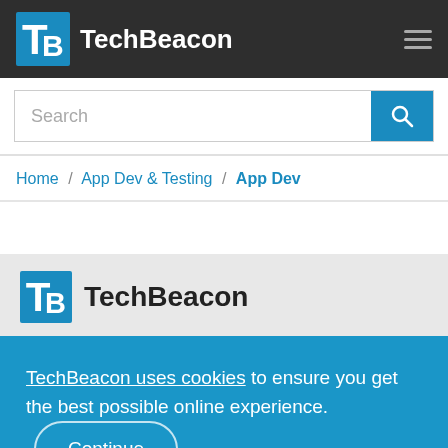TechBeacon
Search
Home / App Dev & Testing / App Dev
[Figure (logo): TechBeacon logo with blue TB icon and dark text on light gray background]
TechBeacon uses cookies to ensure you get the best possible online experience. Continue